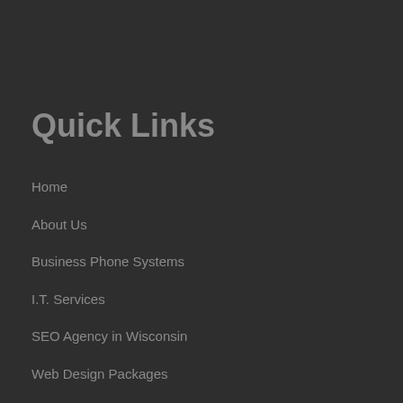Quick Links
Home
About Us
Business Phone Systems
I.T. Services
SEO Agency in Wisconsin
Web Design Packages
Graphic Design Services
Contact Us
Careers